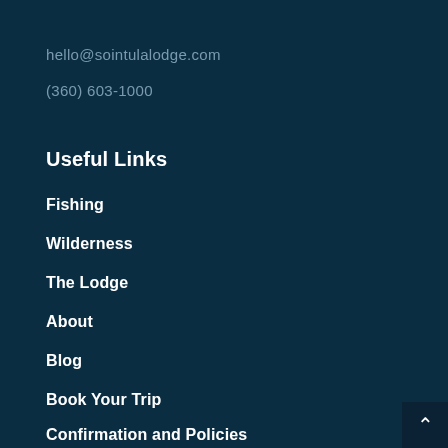hello@sointulalodge.com
(360) 603-1000
Useful Links
Fishing
Wilderness
The Lodge
About
Blog
Book Your Trip
Confirmation and Policies